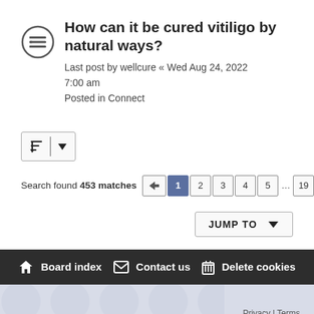How can it be cured vitiligo by natural ways?
Last post by wellcure « Wed Aug 24, 2022 7:00 am
Posted in Connect
Search found 453 matches
JUMP TO
Board index  Contact us  Delete cookies
Privacy | Terms